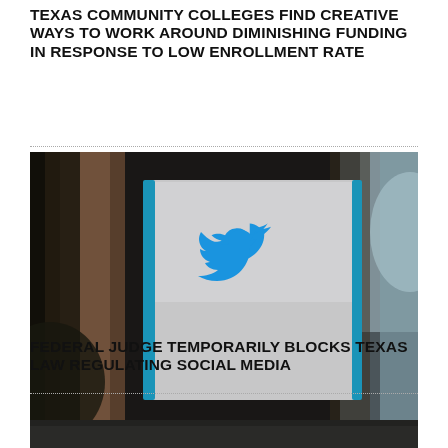TEXAS COMMUNITY COLLEGES FIND CREATIVE WAYS TO WORK AROUND DIMINISHING FUNDING IN RESPONSE TO LOW ENROLLMENT RATE
[Figure (photo): Photo of Twitter bird logo sign mounted on a building exterior, with blurred foliage in the foreground and background. The logo is light blue on a white/silver panel.]
FEDERAL JUDGE TEMPORARILY BLOCKS TEXAS LAW REGULATING SOCIAL MEDIA